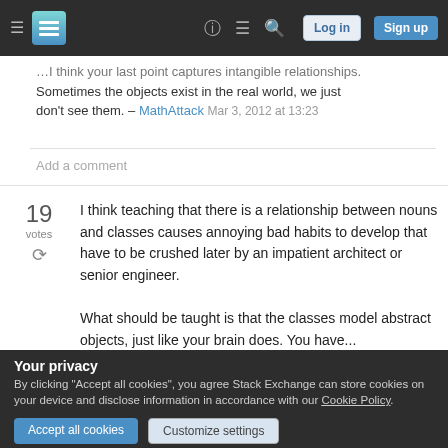Stack Exchange navigation header with hamburger menu, logo, help, chat, search icons, Log in and Sign up buttons
...I think your last point captures intangible relationships. Sometimes the objects exist in the real world, we just don't see them. – MathAttack Mar 3, 2012 at 13:23
Add a comment
19 votes
I think teaching that there is a relationship between nouns and classes causes annoying bad habits to develop that have to be crushed later by an impatient architect or senior engineer.

What should be taught is that the classes model abstract objects, just like your brain does. You have...
Your privacy
By clicking "Accept all cookies", you agree Stack Exchange can store cookies on your device and disclose information in accordance with our Cookie Policy.
Accept all cookies   Customize settings
concept is.